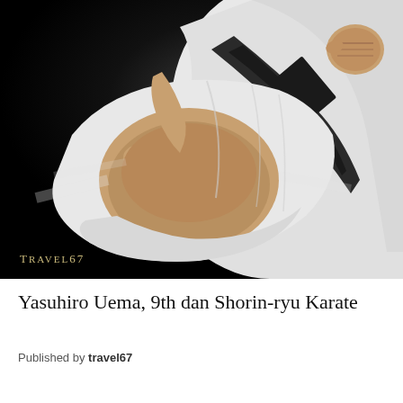[Figure (photo): A karate practitioner wearing a white gi and black belt performing a high kick toward the camera, against a dark/black background. The foot is motion-blurred and thrust forward. A watermark 'TRAVEL67' appears in the lower-left corner in gold small-caps text.]
Yasuhiro Uema, 9th dan Shorin-ryu Karate
Published by travel67